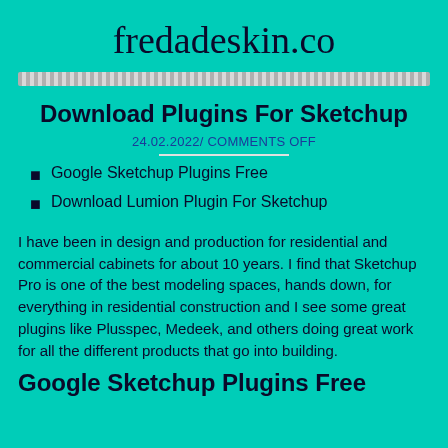fredadeskin.co
Download Plugins For Sketchup
24.02.2022/ COMMENTS OFF
Google Sketchup Plugins Free
Download Lumion Plugin For Sketchup
I have been in design and production for residential and commercial cabinets for about 10 years. I find that Sketchup Pro is one of the best modeling spaces, hands down, for everything in residential construction and I see some great plugins like Plusspec, Medeek, and others doing great work for all the different products that go into building.
Google Sketchup Plugins Free